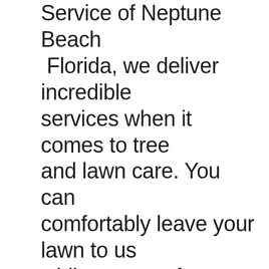Service of Neptune Beach Florida, we deliver incredible services when it comes to tree and lawn care. You can comfortably leave your lawn to us while we transform your landscape into a flourishing and vibrant yard. Kirk Tree and Lawn care Service of Neptune Beach Florida makes use of high-quality equipment and we offer services like;